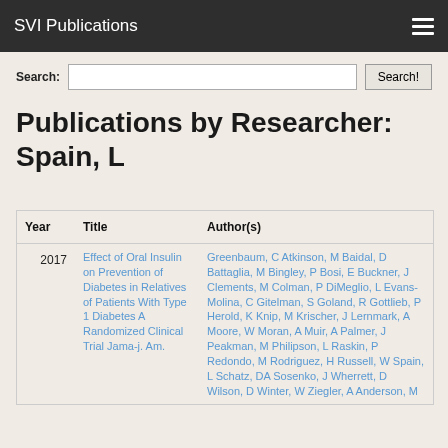SVI Publications
Search:
Publications by Researcher: Spain, L
| Year | Title | Author(s) |
| --- | --- | --- |
| 2017 | Effect of Oral Insulin on Prevention of Diabetes in Relatives of Patients With Type 1 Diabetes A Randomized Clinical Trial Jama-j. Am. | Greenbaum, C Atkinson, M Baidal, D Battaglia, M Bingley, P Bosi, E Buckner, J Clements, M Colman, P DiMeglio, L Evans-Molina, C Gitelman, S Goland, R Gottlieb, P Herold, K Knip, M Krischer, J Lernmark, A Moore, W Moran, A Muir, A Palmer, J Peakman, M Philipson, L Raskin, P Redondo, M Rodriguez, H Russell, W Spain, L Schatz, DA Sosenko, J Wherrett, D Wilson, D Winter, W Ziegler, A Anderson, M |